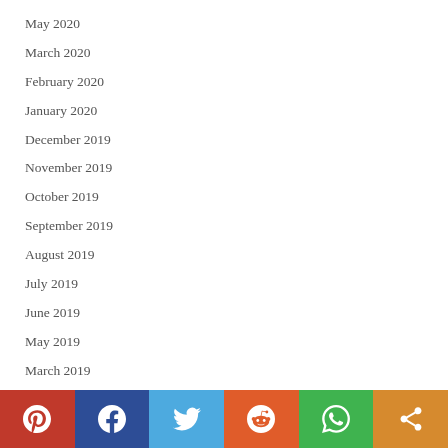May 2020
March 2020
February 2020
January 2020
December 2019
November 2019
October 2019
September 2019
August 2019
July 2019
June 2019
May 2019
March 2019
[Figure (infographic): Social sharing bar with Pinterest, Facebook, Twitter, Reddit, WhatsApp, and Share buttons]